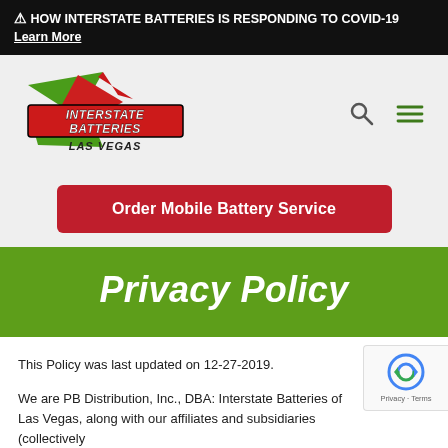⚠ HOW INTERSTATE BATTERIES IS RESPONDING TO COVID-19 Learn More
[Figure (logo): Interstate Batteries Las Vegas logo with green and red lightning bolt design]
Order Mobile Battery Service
Privacy Policy
This Policy was last updated on 12-27-2019.
We are PB Distribution, Inc., DBA: Interstate Batteries of Las Vegas, along with our affiliates and subsidiaries (collectively